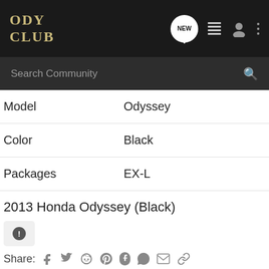ODY CLUB
| Field | Value |
| --- | --- |
| Model | Odyssey |
| Color | Black |
| Packages | EX-L |
2013 Honda Odyssey (Black)
Share:
Comments
There are no comments to display.